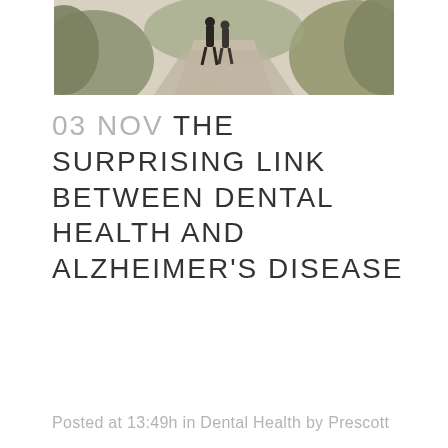[Figure (photo): Two people walking on a dirt path surrounded by green shrubs and trees, viewed from behind, sepia/muted tones]
03 NOV THE SURPRISING LINK BETWEEN DENTAL HEALTH AND ALZHEIMER'S DISEASE
Posted at 13:49h in Dental Health by Prescott